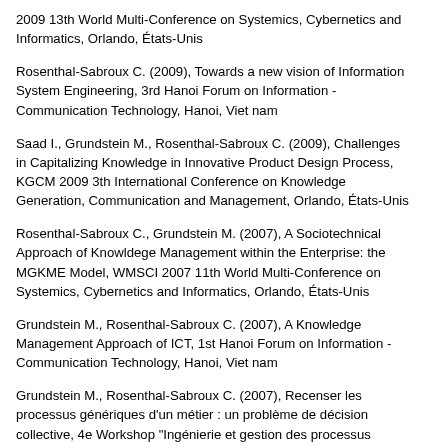2009 13th World Multi-Conference on Systemics, Cybernetics and Informatics, Orlando, États-Unis
Rosenthal-Sabroux C. (2009), Towards a new vision of Information System Engineering, 3rd Hanoi Forum on Information - Communication Technology, Hanoi, Viet nam
Saad I., Grundstein M., Rosenthal-Sabroux C. (2009), Challenges in Capitalizing Knowledge in Innovative Product Design Process, KGCM 2009 3th International Conference on Knowledge Generation, Communication and Management, Orlando, États-Unis
Rosenthal-Sabroux C., Grundstein M. (2007), A Sociotechnical Approach of Knowldege Management within the Enterprise: the MGKME Model, WMSCI 2007 11th World Multi-Conference on Systemics, Cybernetics and Informatics, Orlando, États-Unis
Grundstein M., Rosenthal-Sabroux C. (2007), A Knowledge Management Approach of ICT, 1st Hanoi Forum on Information - Communication Technology, Hanoi, Viet nam
Grundstein M., Rosenthal-Sabroux C. (2007), Recenser les processus génériques d'un métier : un problème de décision collective, 4e Workshop "Ingénierie et gestion des processus d'entreprise", Paris